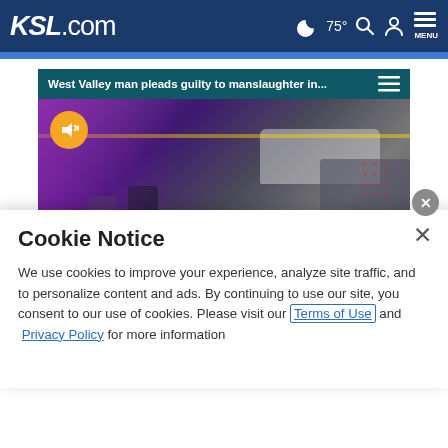KSL.com  75°  MENU
[Figure (screenshot): Video thumbnail showing police officers at a crime scene with text overlay: WEST VALLEY MAN PLEADS GUILTY TO MANSLAUGHTER IN 2020 KILLING. Top bar reads: West Valley man pleads guilty to manslaughter in...]
Cookie Notice
We use cookies to improve your experience, analyze site traffic, and to personalize content and ads. By continuing to use our site, you consent to our use of cookies. Please visit our Terms of Use and  Privacy Policy for more information